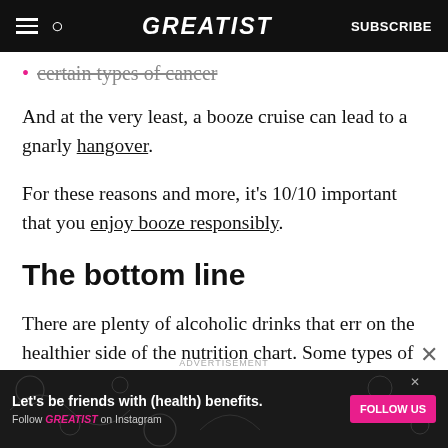GREATIST | SUBSCRIBE
certain types of cancer
And at the very least, a booze cruise can lead to a gnarly hangover.
For these reasons and more, it's 10/10 important that you enjoy booze responsibly.
The bottom line
There are plenty of alcoholic drinks that err on the healthier side of the nutrition chart. Some types of
[Figure (other): Advertisement banner: Let's be friends with (health) benefits. Follow GREATIST on Instagram. Pink FOLLOW US button.]